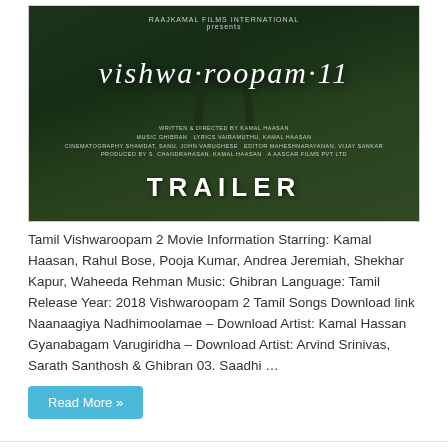[Figure (photo): Movie poster/trailer thumbnail for Vishwaroopam II — dark green forest background with a shadowy figure, stylized italic title 'vishwa-roopam..11', film credits, and large bold 'TRAILER' text at bottom. Produced by Raajkamal Films International.]
Tamil Vishwaroopam 2 Movie Information Starring: Kamal Haasan, Rahul Bose, Pooja Kumar, Andrea Jeremiah, Shekhar Kapur, Waheeda Rehman Music: Ghibran Language: Tamil Release Year: 2018 Vishwaroopam 2 Tamil Songs Download link Naanaagiya Nadhimoolamae – Download Artist: Kamal Hassan Gyanabagam Varugiridha – Download Artist: Arvind Srinivas, Sarath Santhosh & Ghibran 03. Saadhi …
Read More »
Annaatthe